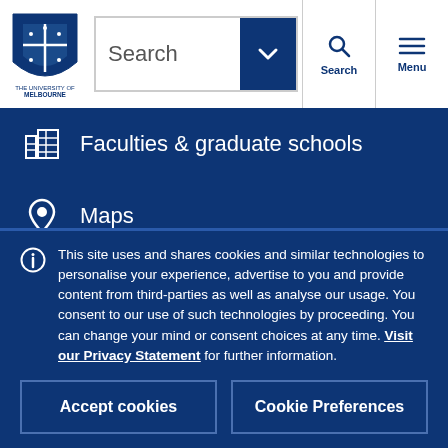[Figure (screenshot): University of Melbourne navigation menu screenshot showing search bar, menu icons, nav items (Faculties & graduate schools, Maps, Library, partially visible item), and a cookie consent banner at the bottom.]
Faculties & graduate schools
Maps
Library
This site uses and shares cookies and similar technologies to personalise your experience, advertise to you and provide content from third-parties as well as analyse our usage. You consent to our use of such technologies by proceeding. You can change your mind or consent choices at any time. Visit our Privacy Statement for further information.
Accept cookies
Cookie Preferences